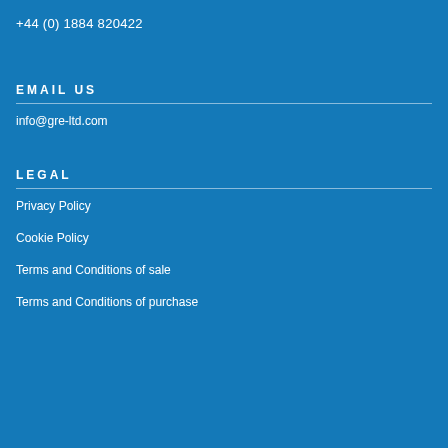+44 (0) 1884 820422
EMAIL US
info@gre-ltd.com
LEGAL
Privacy Policy
Cookie Policy
Terms and Conditions of sale
Terms and Conditions of purchase